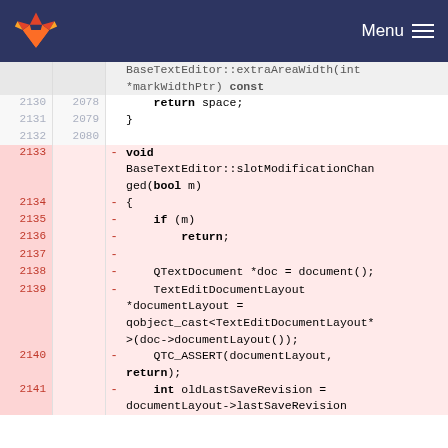GitLab — Menu
[Figure (screenshot): Code diff view showing C++ source lines 2130-2141. Lines 2130-2132 are normal (return space; closing brace). Lines 2133-2141 are deleted (pink background), showing void BaseTextEditor::slotModificationChanged(bool m) function with if(m) return; QTextDocument *doc = document(); TextEditDocumentLayout *documentLayout = qobject_cast<TextEditDocumentLayout*>(doc->documentLayout()); QTC_ASSERT(documentLayout, return); int oldLastSaveRevision = documentLayout->lastSaveRevision...]